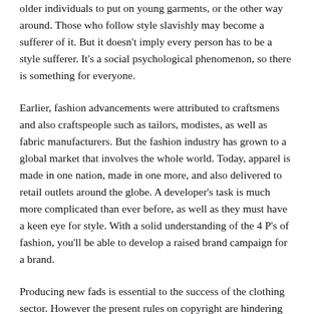older individuals to put on young garments, or the other way around. Those who follow style slavishly may become a sufferer of it. But it doesn't imply every person has to be a style sufferer. It's a social psychological phenomenon, so there is something for everyone.
Earlier, fashion advancements were attributed to craftsmens and also craftspeople such as tailors, modistes, as well as fabric manufacturers. But the fashion industry has grown to a global market that involves the whole world. Today, apparel is made in one nation, made in one more, and also delivered to retail outlets around the globe. A developer's task is much more complicated than ever before, as well as they must have a keen eye for style. With a solid understanding of the 4 P's of fashion, you'll be able to develop a raised brand campaign for a brand.
Producing new fads is essential to the success of the clothing sector. However the present rules on copyright are hindering